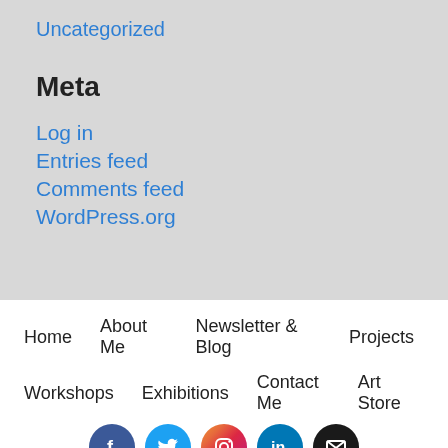Uncategorized
Meta
Log in
Entries feed
Comments feed
WordPress.org
Home   About Me   Newsletter & Blog   Projects   Workshops   Exhibitions   Contact Me   Art Store
[Figure (infographic): Row of five social media circular icon buttons: Facebook (dark blue), Twitter (light blue), Instagram (pink/red gradient), LinkedIn (teal blue), Email (black)]